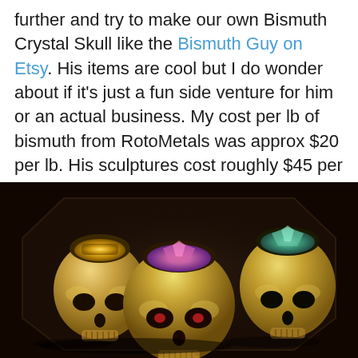further and try to make our own Bismuth Crystal Skull like the Bismuth Guy on Etsy. His items are cool but I do wonder about if it's just a fun side venture for him or an actual business. My cost per lb of bismuth from RotoMetals was approx $20 per lb. His sculptures cost roughly $45 per lb plus shipping.
[Figure (photo): Three golden bismuth crystal skulls arranged on a dark octagonal reflective surface. Each skull has an open top revealing colorful bismuth crystal formations inside — one with gold crystals, one with pink/purple crystals, and one with teal/green crystals. The skulls have detailed facial features with eye sockets.]